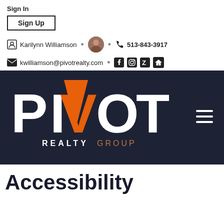Sign In
Sign Up
Karilynn Williamson • 513-843-3917
kwilliamson@pivotrealty.com
[Figure (logo): Pivot Realty Group logo on dark navy background with orange V accent and hamburger menu icon]
Accessibility